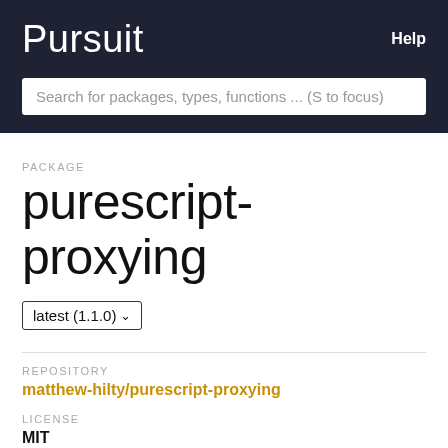Pursuit   Help
Search for packages, types, functions ... (S to focus)
PACKAGE
purescript-proxying
latest (1.1.0)
REPOSITORY
matthew-hilty/purescript-proxying
LICENSE
MIT